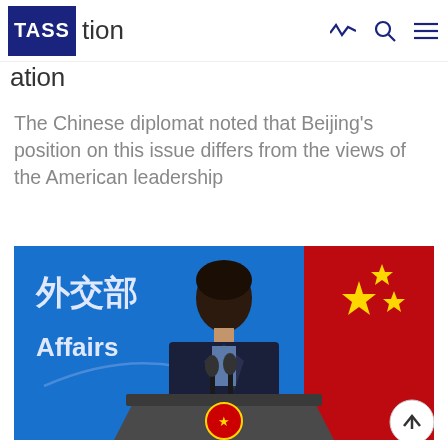TASS operation
The Chinese diplomat noted that Beijing's position on this issue differs from the views of the American leadership
[Figure (photo): Chinese diplomat (woman in dark suit) speaking at a podium with China Ministry of Foreign Affairs backdrop and Chinese flag, with Chinese national emblem on the lectern]